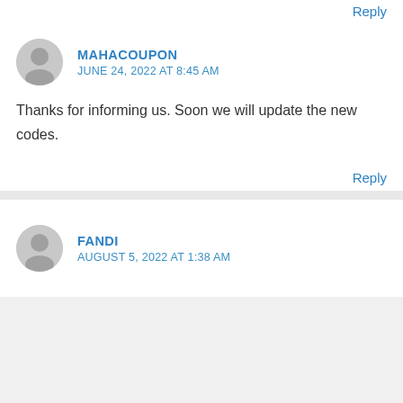Reply
MAHACOUPON
JUNE 24, 2022 AT 8:45 AM
Thanks for informing us. Soon we will update the new codes.
Reply
FANDI
AUGUST 5, 2022 AT 1:38 AM